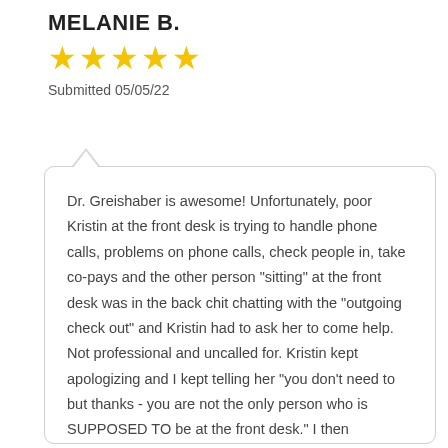MELANIE B.
★★★★★
Submitted 05/05/22
Dr. Greishaber is awesome! Unfortunately, poor Kristin at the front desk is trying to handle phone calls, problems on phone calls, check people in, take co-pays and the other person "sitting" at the front desk was in the back chit chatting with the "outgoing check out" and Kristin had to ask her to come help. Not professional and uncalled for. Kristin kept apologizing and I kept telling her "you don't need to but thanks - you are not the only person who is SUPPOSED TO be at the front desk." I then